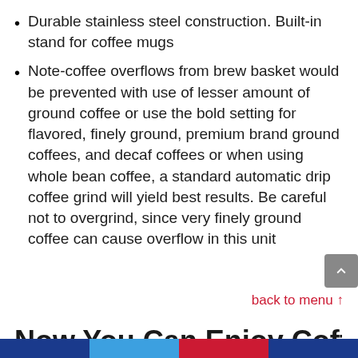Durable stainless steel construction. Built-in stand for coffee mugs
Note-coffee overflows from brew basket would be prevented with use of lesser amount of ground coffee or use the bold setting for flavored, finely ground, premium brand ground coffees, and decaf coffees or when using whole bean coffee, a standard automatic drip coffee grind will yield best results. Be careful not to overgrind, since very finely ground coffee can cause overflow in this unit
back to menu ↑
Now You Can Enjoy Coffee and...